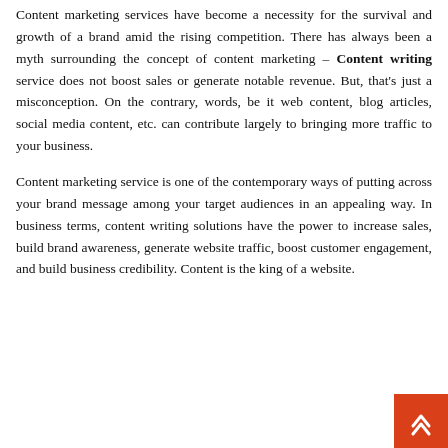Content marketing services have become a necessity for the survival and growth of a brand amid the rising competition. There has always been a myth surrounding the concept of content marketing – Content writing service does not boost sales or generate notable revenue. But, that's just a misconception. On the contrary, words, be it web content, blog articles, social media content, etc. can contribute largely to bringing more traffic to your business.
Content marketing service is one of the contemporary ways of putting across your brand message among your target audiences in an appealing way. In business terms, content writing solutions have the power to increase sales, build brand awareness, generate website traffic, boost customer engagement, and build business credibility. Content is the king of a website.